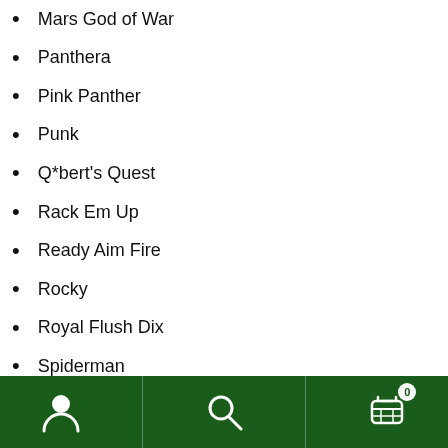Mars God of War
Panthera
Pink Panther
Punk
Q*bert's Quest
Rack Em Up
Ready Aim Fire
Rocky
Royal Flush Dix
Spiderman
Spirit
Star Race
Striker
Super Orbit
The C... (partially visible)
[Figure (other): Bottom navigation bar with user icon, search icon, and shopping cart icon with badge showing 0]